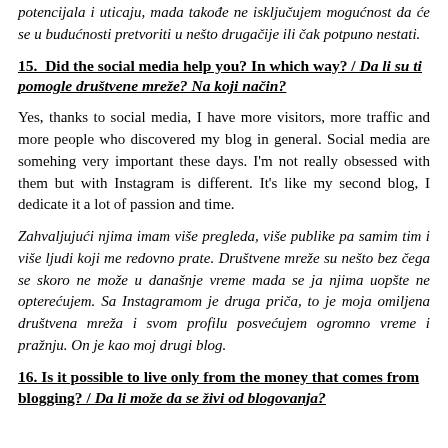potencijala i uticaju, mada takođe ne isključujem mogućnost da će se u budućnosti pretvoriti u nešto drugačije ili čak potpuno nestati.
15.  Did the social media help you? In which way? / Da li su ti pomogle društvene mreže? Na koji način?
Yes, thanks to social media, I have more visitors, more traffic and more people who discovered my blog in general. Social media are somehing very important these days. I'm not really obsessed with them but with Instagram is different. It's like my second blog, I dedicate it a lot of passion and time.
Zahvaljujući njima imam više pregleda, više publike pa samim tim i više ljudi koji me redovno prate. Društvene mreže su nešto bez čega se skoro ne može u današnje vreme mada se ja njima uopšte ne opterećujem. Sa Instagramom je druga priča, to je moja omiljena društvena mreža i svom profilu posvećujem ogromno vreme i pražnju. On je kao moj drugi blog.
16. Is it possible to live only from the money that comes from blogging? / Da li može da se živi od blogovanja?